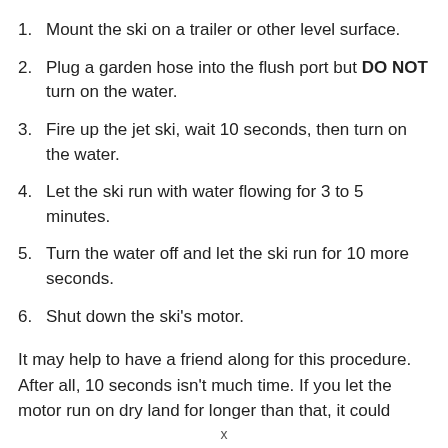1. Mount the ski on a trailer or other level surface.
2. Plug a garden hose into the flush port but DO NOT turn on the water.
3. Fire up the jet ski, wait 10 seconds, then turn on the water.
4. Let the ski run with water flowing for 3 to 5 minutes.
5. Turn the water off and let the ski run for 10 more seconds.
6. Shut down the ski's motor.
It may help to have a friend along for this procedure. After all, 10 seconds isn't much time. If you let the motor run on dry land for longer than that, it could
x